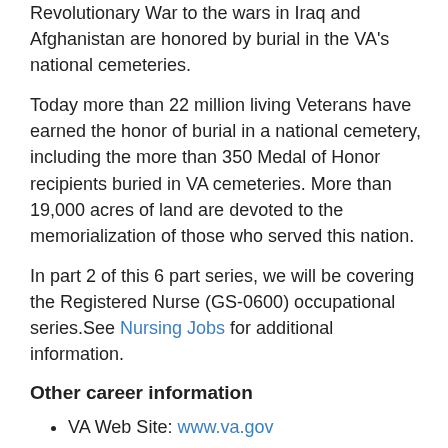Revolutionary War to the wars in Iraq and Afghanistan are honored by burial in the VA's national cemeteries.
Today more than 22 million living Veterans have earned the honor of burial in a national cemetery, including the more than 350 Medal of Honor recipients buried in VA cemeteries. More than 19,000 acres of land are devoted to the memorialization of those who served this nation.
In part 2 of this 6 part series, we will be covering the Registered Nurse (GS-0600) occupational series.See Nursing Jobs for additional information.
Other career information
VA Web Site: www.va.gov
Helpful Career Planning Tools
Applying For Federal Jobs
Civil Service Exams
Veteran's Preference
Interview Preparation
Take Charge of Your Federal Career: An Action